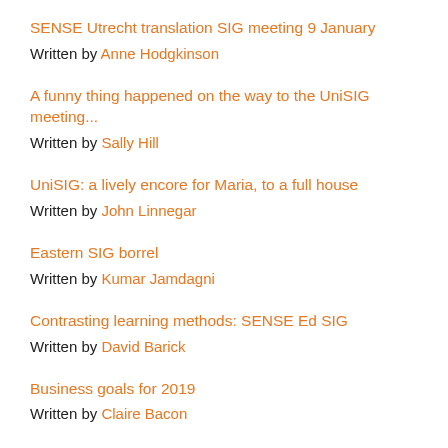SENSE Utrecht translation SIG meeting 9 January
Written by Anne Hodgkinson
A funny thing happened on the way to the UniSIG meeting...
Written by Sally Hill
UniSIG: a lively encore for Maria, to a full house
Written by John Linnegar
Eastern SIG borrel
Written by Kumar Jamdagni
Contrasting learning methods: SENSE Ed SIG
Written by David Barick
Business goals for 2019
Written by Claire Bacon